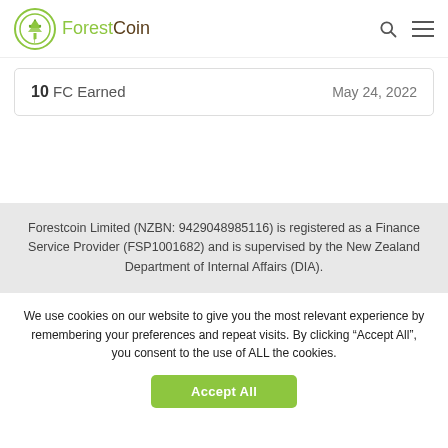ForestCoin
10 FC Earned   May 24, 2022
Forestcoin Limited (NZBN: 9429048985116) is registered as a Finance Service Provider (FSP1001682) and is supervised by the New Zealand Department of Internal Affairs (DIA).
We use cookies on our website to give you the most relevant experience by remembering your preferences and repeat visits. By clicking “Accept All”, you consent to the use of ALL the cookies.
Accept All